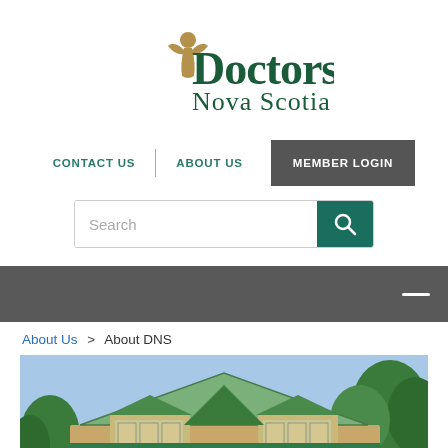[Figure (logo): Doctors Nova Scotia logo with stylized medical figure and serif/sans-serif text]
CONTACT US | ABOUT US  MEMBER LOGIN
[Figure (screenshot): Search input box with magnifying glass button]
[Figure (screenshot): Dark navigation strip with hamburger menu icon]
About Us > About DNS
[Figure (photo): Photo of Doctors Nova Scotia building exterior with green roof accents and trees]